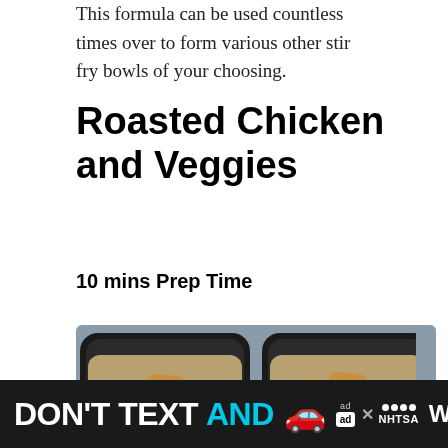This formula can be used countless times over to form various other stir fry bowls of your choosing.
Roasted Chicken and Veggies
10 mins Prep Time
[Figure (photo): Two black meal prep containers filled with roasted chicken pieces and broccoli florets, viewed from above on a blue surface.]
DON'T TEXT AND [car emoji] ad NHTSA [logo]